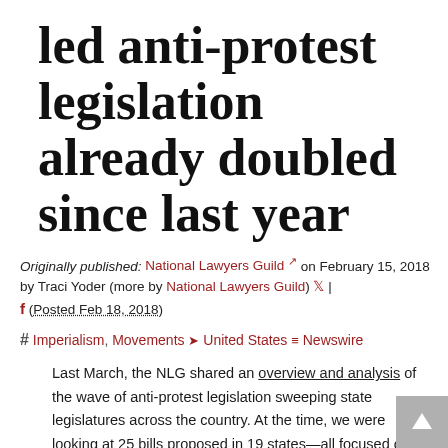led anti-protest legislation already doubled since last year
Originally published: National Lawyers Guild on February 15, 2018 by Traci Yoder (more by National Lawyers Guild) | (Posted Feb 18, 2018)
# Imperialism, Movements United States Newswire
Last March, the NLG shared an overview and analysis of the wave of anti-protest legislation sweeping state legislatures across the country. At the time, we were looking at 25 bills proposed in 19 states—all focused on limiting the right to protest or removing liability for harm caused to protesters. One year later, the number of anti-